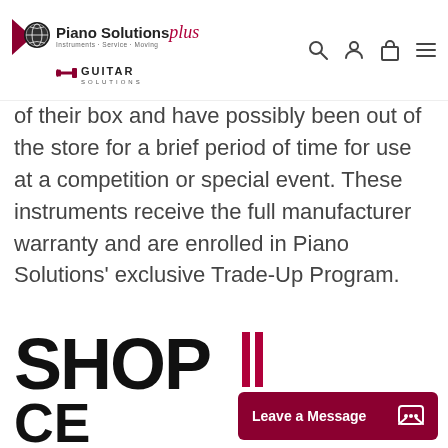[Figure (logo): Piano Solutions Plus and Guitar Solutions logos with navigation icons (search, user, cart, menu)]
of their box and have possibly been out of the store for a brief period of time for use at a competition or special event. These instruments receive the full manufacturer warranty and are enrolled in Piano Solutions' exclusive Trade-Up Program.
[Figure (logo): SHOP [with red vertical bars] CE U — partial text of a section header banner at bottom of page]
Leave a Message